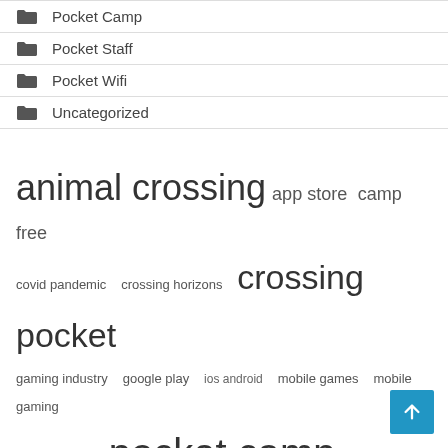Pocket Camp
Pocket Staff
Pocket Wifi
Uncategorized
[Figure (infographic): Tag cloud with tags: animal crossing (largest), app store, camp free, covid pandemic, crossing horizons, crossing pocket (large), gaming industry, google play, ios android, mobile games, mobile gaming, official website, pocket camp (very large), pocket gamer, united states]
Recent Posts
The 2000s Best Business Cell Phone Plan...